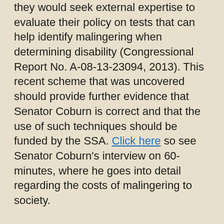they would seek external expertise to evaluate their policy on tests that can help identify malingering when determining disability (Congressional Report No. A-08-13-23094, 2013). This recent scheme that was uncovered should provide further evidence that Senator Coburn is correct and that the use of such techniques should be funded by the SSA. Click here so see Senator Coburn's interview on 60-minutes, where he goes into detail regarding the costs of malingering to society.
An additional recommendation that I and others in this area have is for healthcare providers to be afforded administrative and/or legal protections against complaints by identified malingerers, so long as the determination of malingering can be defended using currently accepted scientific standards. Until that happens (which may be never), patients who report mental disabilities in the context of a disability claim, litigation, compensation-seeking, seeking academic accommodations, seeking prescription drugs of potential abuse (e.g., pain killers, stimulants), who have a potential desire to avoid work, military service, school, or prosecution, should be required to undergo a comprehensive